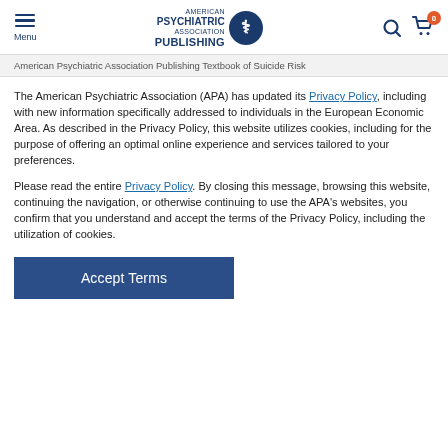Menu | American Psychiatric Association Publishing | Search | Cart 0
American Psychiatric Association Publishing Textbook of Suicide Risk
The American Psychiatric Association (APA) has updated its Privacy Policy, including with new information specifically addressed to individuals in the European Economic Area. As described in the Privacy Policy, this website utilizes cookies, including for the purpose of offering an optimal online experience and services tailored to your preferences.
Please read the entire Privacy Policy. By closing this message, browsing this website, continuing the navigation, or otherwise continuing to use the APA's websites, you confirm that you understand and accept the terms of the Privacy Policy, including the utilization of cookies.
Accept Terms